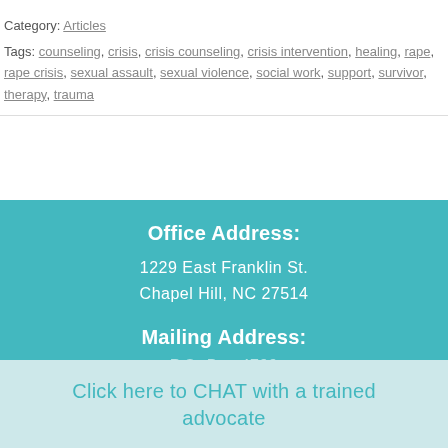Category: Articles
Tags: counseling, crisis, crisis counseling, crisis intervention, healing, rape, rape crisis, sexual assault, sexual violence, social work, support, survivor, therapy, trauma
Office Address:
1229 East Franklin St.
Chapel Hill, NC 27514
Mailing Address:
P.O. Box 4799
Click here to CHAT with a trained advocate